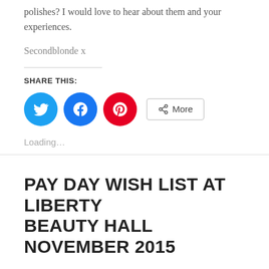polishes? I would love to hear about them and your experiences.
Secondblonde x
SHARE THIS:
[Figure (infographic): Social share buttons: Twitter (blue circle), Facebook (blue circle), Pinterest (red circle), and a More button with share icon]
Loading…
PAY DAY WISH LIST AT LIBERTY BEAUTY HALL NOVEMBER 2015